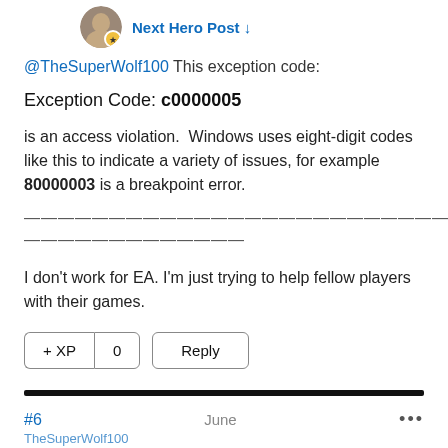Next Hero Post ↓
@TheSuperWolf100 This exception code:
Exception Code: c0000005
is an access violation.  Windows uses eight-digit codes like this to indicate a variety of issues, for example 80000003 is a breakpoint error.
————————————————————————————————————————————————
I don't work for EA. I'm just trying to help fellow players with their games.
#6   June   •••